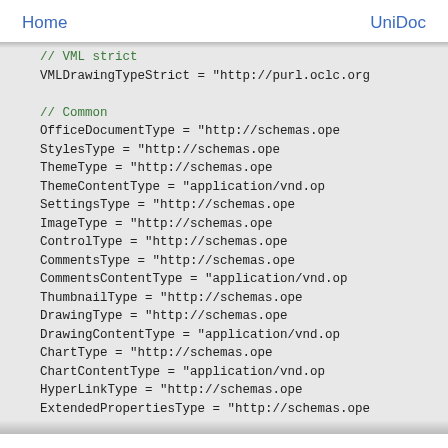Home    UniDoc
// VML strict
VMLDrawingTypeStrict = "http://purl.oclc.org"

// Common
OfficeDocumentType      = "http://schemas.ope
StylesType              = "http://schemas.ope
ThemeType               = "http://schemas.ope
ThemeContentType        = "application/vnd.op
SettingsType            = "http://schemas.ope
ImageType               = "http://schemas.ope
ControlType             = "http://schemas.ope
CommentsType            = "http://schemas.ope
CommentsContentType     = "application/vnd.op
ThumbnailType           = "http://schemas.ope
DrawingType             = "http://schemas.ope
DrawingContentType      = "application/vnd.op
ChartType               = "http://schemas.ope
ChartContentType        = "application/vnd.op
HyperLinkType           = "http://schemas.ope
ExtendedPropertiesType  = "http://schemas.ope
CorePropertiesType      = "http://schemas.ope